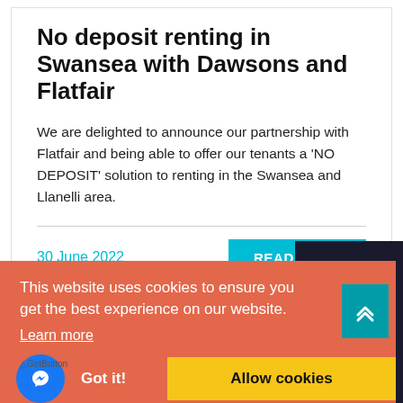No deposit renting in Swansea with Dawsons and Flatfair
We are delighted to announce our partnership with Flatfair and being able to offer our tenants a 'NO DEPOSIT' solution to renting in the Swansea and Llanelli area.
30 June 2022
READ MORE
This website uses cookies to ensure you get the best experience on our website.
Learn more
Got it!
Allow cookies